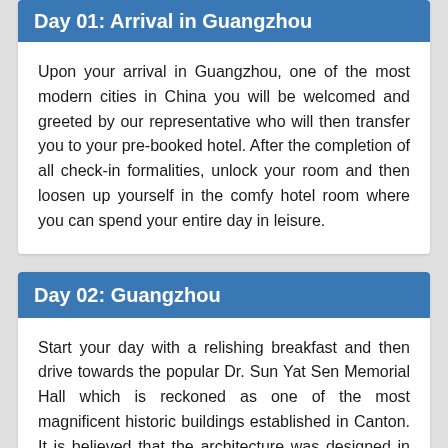Day 01: Arrival in Guangzhou
Upon your arrival in Guangzhou, one of the most modern cities in China you will be welcomed and greeted by our representative who will then transfer you to your pre-booked hotel. After the completion of all check-in formalities, unlock your room and then loosen up yourself in the comfy hotel room where you can spend your entire day in leisure.
Day 02: Guangzhou
Start your day with a relishing breakfast and then drive towards the popular Dr. Sun Yat Sen Memorial Hall which is reckoned as one of the most magnificent historic buildings established in Canton. It is believed that the architecture was designed in the remembrance of Dr. Sun Yat Sen. Later exploring this historic monument drive towards the other popular attraction i.e. Temple of Six